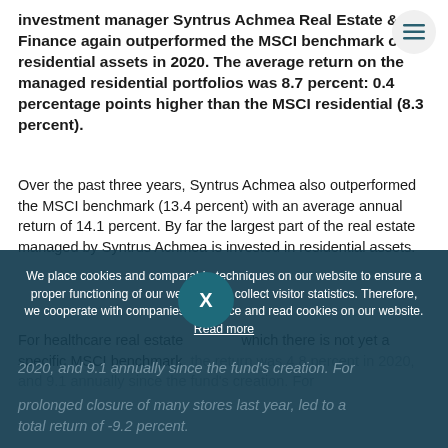investment manager Syntrus Achmea Real Estate & Finance again outperformed the MSCI benchmark on residential assets in 2020. The average return on the managed residential portfolios was 8.7 percent: 0.4 percentage points higher than the MSCI residential (8.3 percent).
Over the past three years, Syntrus Achmea also outperformed the MSCI benchmark (13.4 percent) with an average annual return of 14.1 percent. By far the largest part of the real estate managed by Syntrus Achmea is invested in residential assets.
For healthcare real estate, which there is not yet a specific MSCI benchmark, the return was 4.8 percent in 2020, and 9.1 annually since the fund's creation. For ... prolonged closure of many stores last year, led to a total return of -9.2 percent.
We place cookies and comparable techniques on our website to ensure a proper functioning of our website and collect visitor statistics. Therefore, we cooperate with companies that place and read cookies on our website. Read more